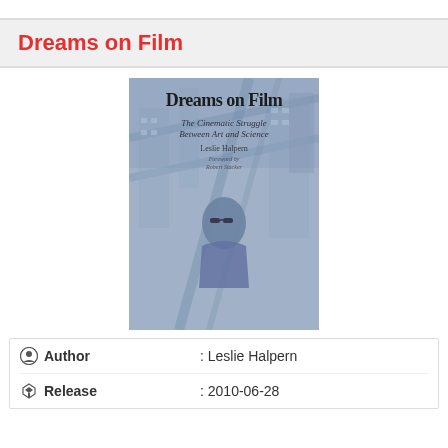Dreams on Film
[Figure (photo): Book cover of 'Dreams on Film: The Cinematic Struggle Between Art and Science' by Leslie Halpern, Foreword by Robert Stacker. Blue-toned cover showing a person in sunglasses against an urban background.]
Author : Leslie Halpern
Release : 2010-06-28